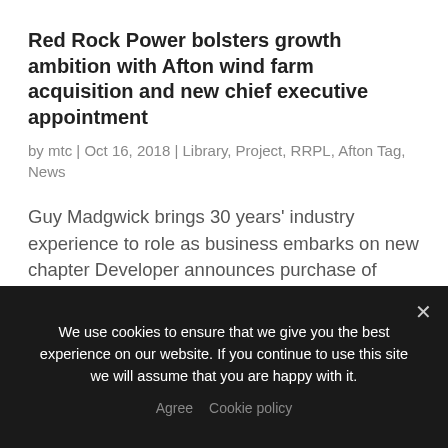Red Rock Power bolsters growth ambition with Afton wind farm acquisition and new chief executive appointment
by mtc | Oct 16, 2018 | Library, Project, RRPL, Afton Tag, News
Guy Madgwick brings 30 years' industry experience to role as business embarks on new chapter Developer announces purchase of 50MW operational wind farm in East Ayrshire Scottish energy developer, Red Rock Power Limited, has today announced the appointment…
We use cookies to ensure that we give you the best experience on our website. If you continue to use this site we will assume that you are happy with it.